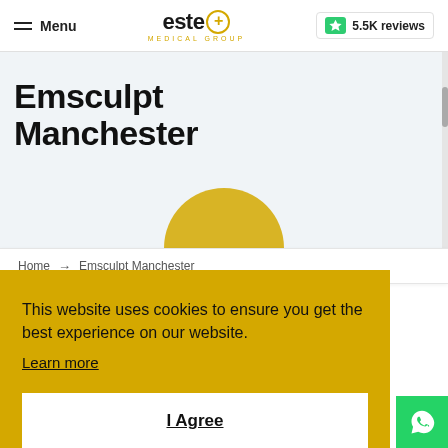Menu | este+ MEDICAL GROUP | 5.5K reviews
Emsculpt Manchester
Home → Emsculpt Manchester
This website uses cookies to ensure you get the best experience on our website.
Learn more
I Agree